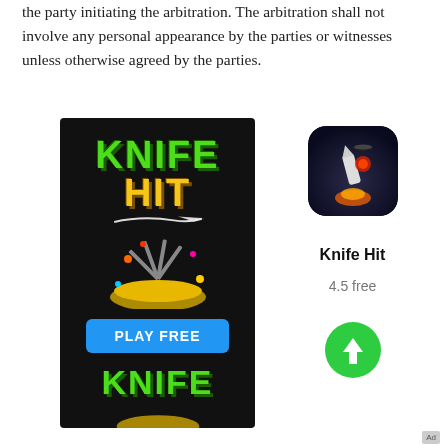the party initiating the arbitration. The arbitration shall not involve any personal appearance by the parties or witnesses unless otherwise agreed by the parties.
[Figure (illustration): Advertisement for 'Knife Hit' mobile game. Left side shows a dark promotional banner with 'KNIFE HIT' in green and yellow text, colorful knife-throwing graphic, and a blue 'PLAY FREE' button. Right side shows the app icon (knife/rocket on dark background), the app name 'Knife Hit', rating '4.5 free', and a green download button.]